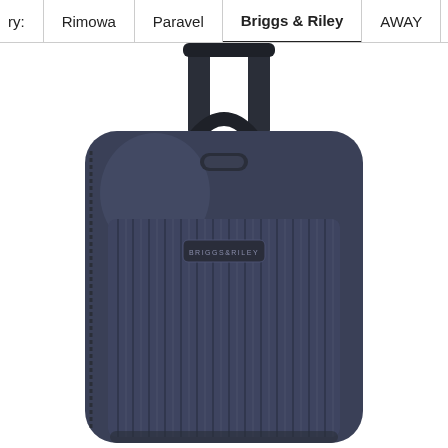ry:  Rimowa | Paravel | Briggs & Riley | AWAY | Globe-Trotter
[Figure (photo): A dark navy/slate blue hard-shell Briggs & Riley luggage suitcase, showing the front face with vertical ribbed texture, the brand logo badge in the center, a top carry handle, telescoping handle bars, and a zipper along the left side.]